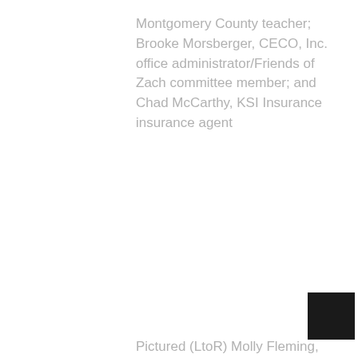Montgomery County teacher; Brooke Morsberger, CECO, Inc. office administrator/Friends of Zach committee member; and Chad McCarthy, KSI Insurance insurance agent
[Figure (photo): Black square representing a photograph (partially visible, cropped at page edge)]
Pictured (LtoR) Molly Fleming, Glenelg Country School; Felicia Fleming, Zaching Against Cancer